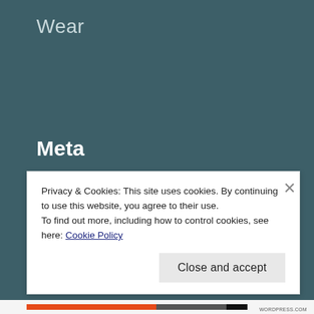Wear
Meta
Register
Log in
Entries feed
Comments feed
Privacy & Cookies: This site uses cookies. By continuing to use this website, you agree to their use. To find out more, including how to control cookies, see here: Cookie Policy
Close and accept